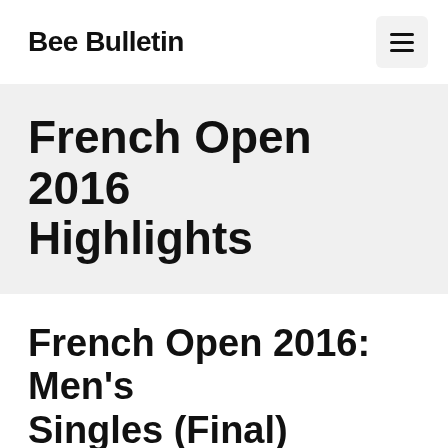Bee Bulletin
French Open 2016 Highlights
French Open 2016: Men’s Singles (Final)
Jun 7, 2016 by Figgy Pawsebourne
After 2 …